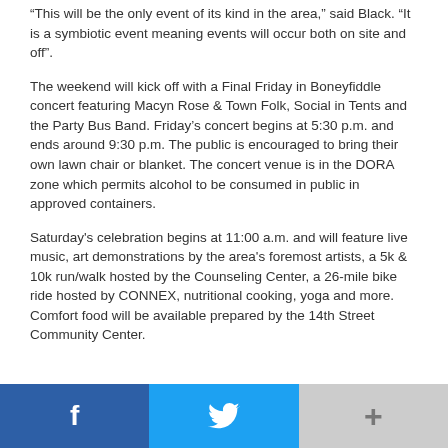“This will be the only event of its kind in the area,” said Black. “It is a symbiotic event meaning events will occur both on site and off”.
The weekend will kick off with a Final Friday in Boneyfiddle concert featuring Macyn Rose & Town Folk, Social in Tents and the Party Bus Band. Friday’s concert begins at 5:30 p.m. and ends around 9:30 p.m. The public is encouraged to bring their own lawn chair or blanket. The concert venue is in the DORA zone which permits alcohol to be consumed in public in approved containers.
Saturday's celebration begins at 11:00 a.m. and will feature live music, art demonstrations by the area's foremost artists, a 5k & 10k run/walk hosted by the Counseling Center, a 26-mile bike ride hosted by CONNEX, nutritional cooking, yoga and more. Comfort food will be available prepared by the 14th Street Community Center.